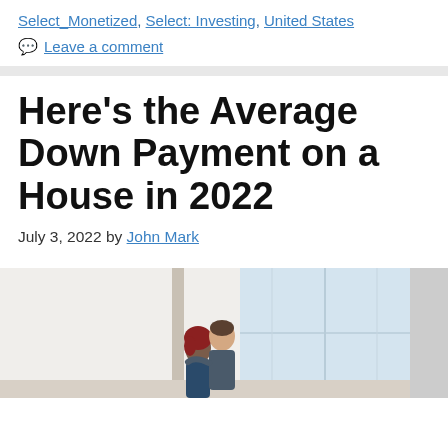Select_Monetized, Select: Investing, United States
Leave a comment
Here's the Average Down Payment on a House in 2022
July 3, 2022 by John Mark
[Figure (photo): A couple in a bright room, possibly celebrating or embracing in their new home. Light-colored walls on the left and a window on the right.]